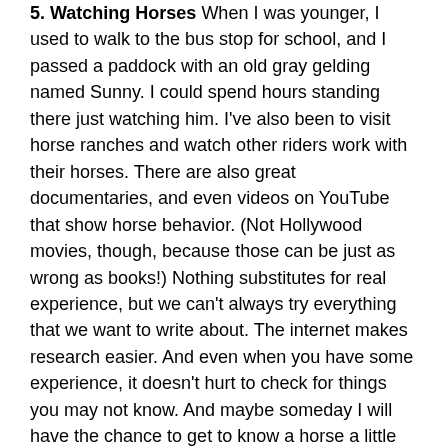5. Watching Horses When I was younger, I used to walk to the bus stop for school, and I passed a paddock with an old gray gelding named Sunny. I could spend hours standing there just watching him. I've also been to visit horse ranches and watch other riders work with their horses. There are also great documentaries, and even videos on YouTube that show horse behavior. (Not Hollywood movies, though, because those can be just as wrong as books!) Nothing substitutes for real experience, but we can't always try everything that we want to write about. The internet makes research easier. And even when you have some experience, it doesn't hurt to check for things you may not know. And maybe someday I will have the chance to get to know a horse a little better, and write about the experience. I look forward to that day.
*******